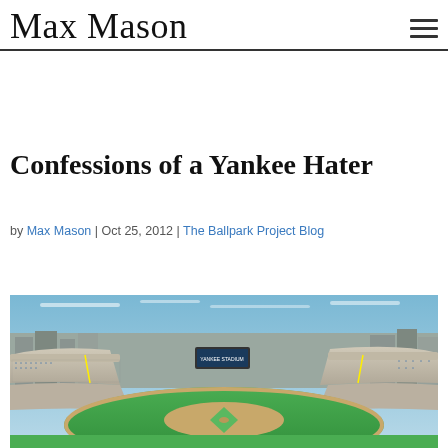Max Mason
Confessions of a Yankee Hater
by Max Mason | Oct 25, 2012 | The Ballpark Project Blog
[Figure (photo): Aerial panoramic view of a baseball stadium (Yankee Stadium), showing the field, stands filled with spectators, and surrounding neighborhood buildings under a blue sky.]